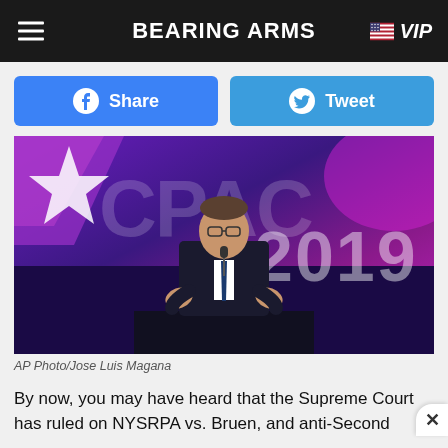BEARING ARMS | VIP
Share | Tweet
[Figure (photo): Man speaking at CPAC 2019 podium with purple and pink background showing CPAC 2019 branding]
AP Photo/Jose Luis Magana
By now, you may have heard that the Supreme Court has ruled on NYSRPA vs. Bruen, and anti-Second